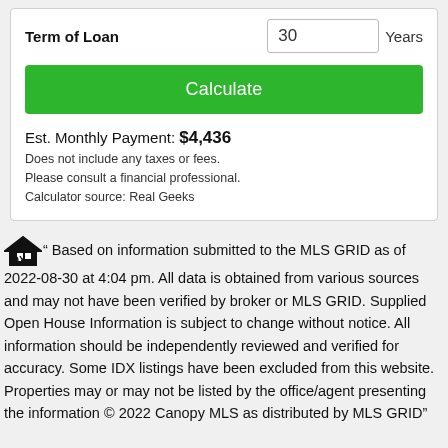Term of Loan   30   Years
Calculate
Est. Monthly Payment: $4,436
Does not include any taxes or fees.
Please consult a financial professional.
Calculator source: Real Geeks
Based on information submitted to the MLS GRID as of 2022-08-30 at 4:04 pm. All data is obtained from various sources and may not have been verified by broker or MLS GRID. Supplied Open House Information is subject to change without notice. All information should be independently reviewed and verified for accuracy. Some IDX listings have been excluded from this website. Properties may or may not be listed by the office/agent presenting the information © 2022 Canopy MLS as distributed by MLS GRID"